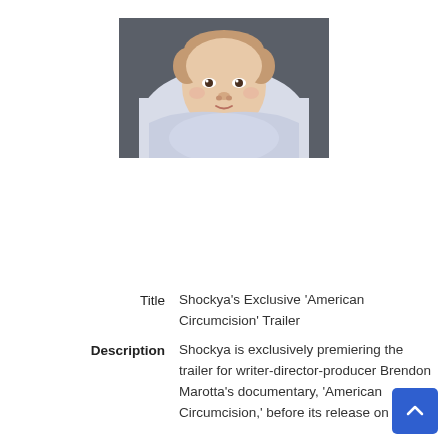[Figure (photo): A newborn baby swaddled in a light blue/white blanket, lying in what appears to be a car seat or stroller with dark fabric, looking upward at the camera.]
Title   Shockya's Exclusive 'American Circumcision' Trailer
Description   Shockya is exclusively premiering the trailer for writer-director-producer Brendon Marotta's documentary, 'American Circumcision,' before its release on VOD.